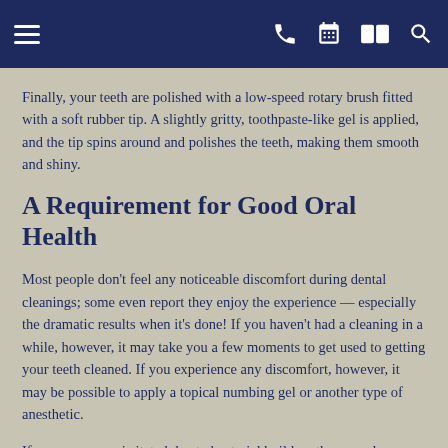[Navigation bar with hamburger menu, phone, calendar, map, and search icons]
Finally, your teeth are polished with a low-speed rotary brush fitted with a soft rubber tip. A slightly gritty, toothpaste-like gel is applied, and the tip spins around and polishes the teeth, making them smooth and shiny.
A Requirement for Good Oral Health
Most people don't feel any noticeable discomfort during dental cleanings; some even report they enjoy the experience — especially the dramatic results when it's done! If you haven't had a cleaning in a while, however, it may take you a few moments to get used to getting your teeth cleaned. If you experience any discomfort, however, it may be possible to apply a topical numbing gel or another type of anesthetic.
If your gums are irritated due to bacterial buildup, they may become sore or bleed slightly during the cleaning. It may be possible to prevent this from occuring in the future with oral hygiene measures you can perform at home (such as improved flossing techniques or special mouthrinses); it might also indicate